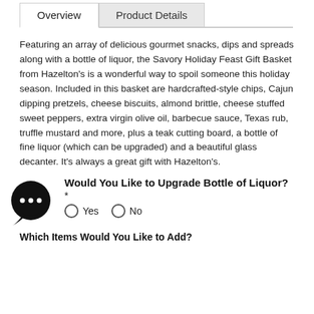Overview | Product Details
Featuring an array of delicious gourmet snacks, dips and spreads along with a bottle of liquor, the Savory Holiday Feast Gift Basket from Hazelton's is a wonderful way to spoil someone this holiday season. Included in this basket are hardcrafted-style chips, Cajun dipping pretzels, cheese biscuits, almond brittle, cheese stuffed sweet peppers, extra virgin olive oil, barbecue sauce, Texas rub, truffle mustard and more, plus a teak cutting board, a bottle of fine liquor (which can be upgraded) and a beautiful glass decanter. It's always a great gift with Hazelton's.
[Figure (illustration): Chat bubble icon with three dots]
Would You Like to Upgrade Bottle of Liquor? *
Yes  No
Which Items Would You Like to Add?